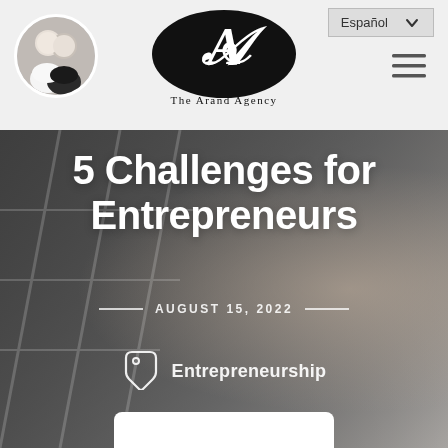[Figure (logo): The Arand Agency logo: black oval with decorative script letter A and text 'The Arand Agency' below]
[Figure (photo): Circular profile photo of a man and woman smiling, wearing white]
Español ∨
[Figure (illustration): Hamburger menu icon (three horizontal lines)]
5 Challenges for Entrepreneurs
AUGUST 15, 2022
[Figure (illustration): Tag/label icon in white outline]
Entrepreneurship